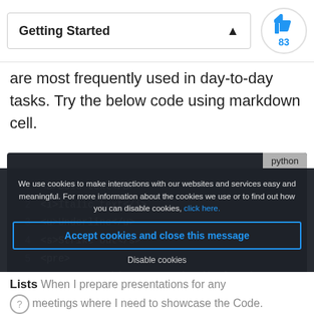Getting Started
are most frequently used in day-to-day tasks. Try the below code using markdown cell.
[Figure (screenshot): Dark-themed Python code block showing 7 lines of HTML markup tags: 1 <B>Bold text</B>, 2 <i>Italic text</i>, 3 <u>Underline</u>, 4 <s>Strike out</s>, 5 <pre>, 6     I want this text to be displayed, 7         the way I am writing it.]
We use cookies to make interactions with our websites and services easy and meaningful. For more information about the cookies we use or to find out how you can disable cookies, click here.
Accept cookies and close this message
Disable cookies
Lists When I prepare presentations for any meetings where I need to showcase the Code.